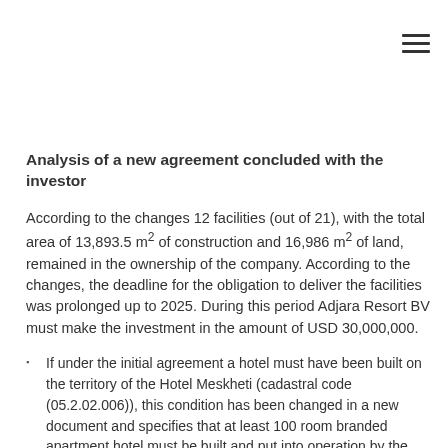Analysis of a new agreement concluded with the investor
According to the changes 12 facilities (out of 21), with the total area of 13,893.5 m² of construction and 16,986 m² of land, remained in the ownership of the company. According to the changes, the deadline for the obligation to deliver the facilities was prolonged up to 2025. During this period Adjara Resort BV must make the investment in the amount of USD 30,000,000.
If under the initial agreement a hotel must have been built on the territory of the Hotel Meskheti (cadastral code (05.2.02.006)), this condition has been changed in a new document and specifies that at least 100 room branded apartment hotel must be built and put into operation by the company before 31 December 2020 by investing USD 11,500,000 in the project.